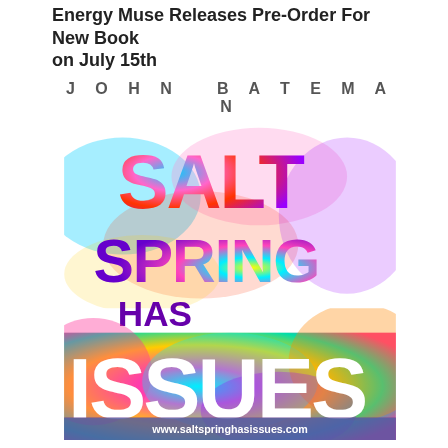Energy Muse Releases Pre-Order For New Book on July 15th
July 13, 2017
[Figure (illustration): Book cover for 'Salt Spring Has Issues' by John Bateman. Features large colorful tie-dye style text with SALT SPRING in red/orange/purple, HAS in purple, ISSUES in large white letters on tie-dye background. Website www.saltspringhasissues.com shown at bottom.]